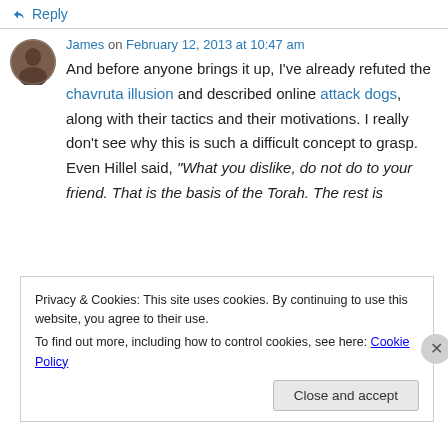↳ Reply
James on February 12, 2013 at 10:47 am
And before anyone brings it up, I've already refuted the chavruta illusion and described online attack dogs, along with their tactics and their motivations. I really don't see why this is such a difficult concept to grasp. Even Hillel said, "What you dislike, do not do to your friend. That is the basis of the Torah. The rest is
Privacy & Cookies: This site uses cookies. By continuing to use this website, you agree to their use. To find out more, including how to control cookies, see here: Cookie Policy
Close and accept